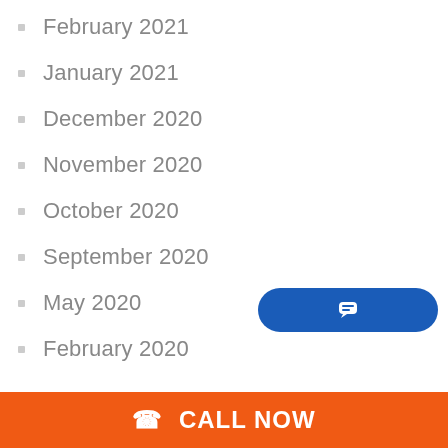February 2021
January 2021
December 2020
November 2020
October 2020
September 2020
May 2020
February 2020
CALL NOW